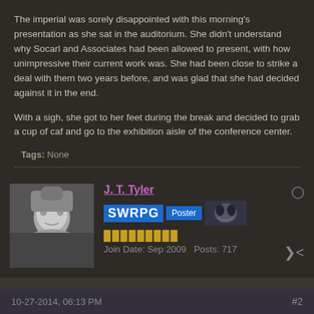The imperial was sorely disappointed with this morning's presentation as she sat in the auditorium. She didn't understand why Socarl and Associates had been allowed to present, with how unimpressive their current work was. She had been close to strike a deal with them two years before, and was glad that she had decided against it in the end.
With a sigh, she got to her feet during the break and decided to grab a cup of caf and go to the exhibition aisle of the conference center.
Tags: None
J. T. Tyler
SWRPG Poster
Join Date: Sep 2009   Posts: 717
10-27-2014, 06:13 PM
#2
She was not the only high level name in the exhibition aisle though as the principle owner and chairman of Silent Knight Inc. was there as well, though his caf was a little more "ramped up". He was of course speaking to a few members of the HNN who were suddenly showing interest in his appearance though he had been here every year prior. Perhaps it was because he was more known for his restaurants and